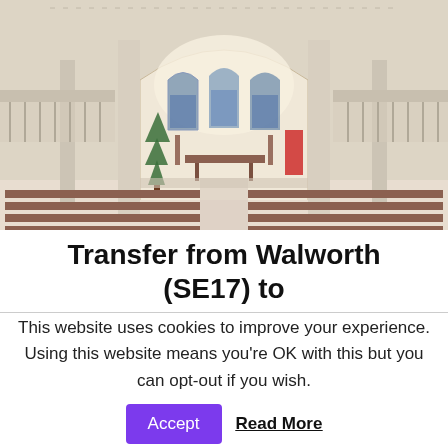[Figure (photo): Interior of a church showing wooden pews in the foreground, a central altar area with arched windows containing stained glass, decorative columns, upper balcony galleries, a Christmas tree on the left side, and a red banner on the right.]
Transfer from Walworth (SE17) to
This website uses cookies to improve your experience. Using this website means you're OK with this but you can opt-out if you wish. Accept Read More